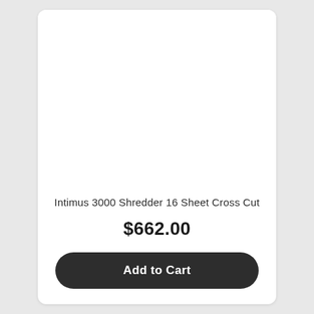[Figure (photo): White blank product image area at top of product card]
Intimus 3000 Shredder 16 Sheet Cross Cut
$662.00
Add to Cart